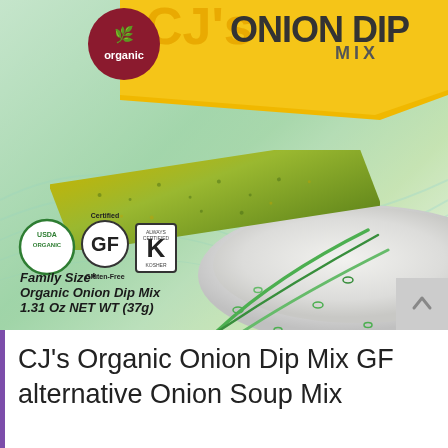[Figure (photo): Product photo of CJ's Organic Onion Dip Mix packet (Family Size, 1.31 Oz NET WT / 37g). The package features a yellow banner with 'ONION DIP MIX' text, a dark red circle with 'organic' and leaf logo, a spice/herb ribbon across the front, and a bowl of white dip garnished with green chives. Certification badges shown: USDA Organic, Certified GF (Gluten-Free), and Kosher (K) seal. Text: 'Family Size* Organic Onion Dip Mix 1.31 Oz NET WT (37g)']
CJ's Organic Onion Dip Mix GF alternative Onion Soup Mix